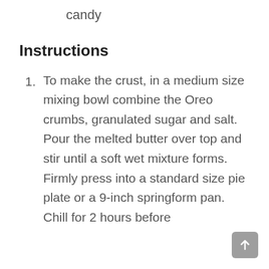candy
Instructions
1. To make the crust, in a medium size mixing bowl combine the Oreo crumbs, granulated sugar and salt. Pour the melted butter over top and stir until a soft wet mixture forms. Firmly press into a standard size pie plate or a 9-inch springform pan. Chill for 2 hours before